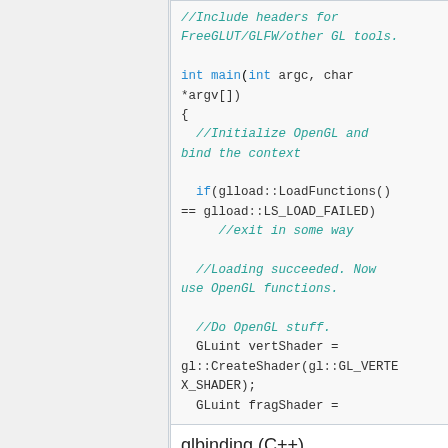//Include headers for FreeGLUT/GLFW/other GL tools.

int main(int argc, char *argv[])
{
  //Initialize OpenGL and bind the context

  if(glload::LoadFunctions() == glload::LS_LOAD_FAILED)
    //exit in some way

  //Loading succeeded. Now use OpenGL functions.

  //Do OpenGL stuff.
  GLuint vertShader = gl::CreateShader(gl::GL_VERTEX_SHADER);
  GLuint fragShader =
glbinding (C++)
glbinding is a new generated, cross-